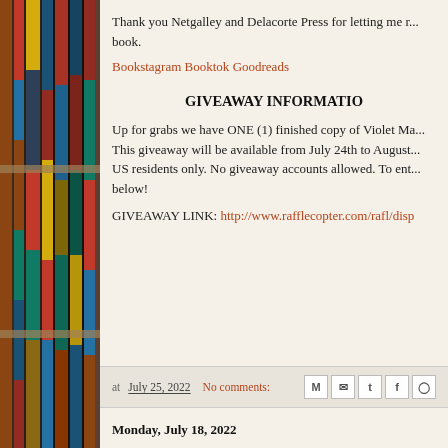Thank you Netgalley and Delacorte Press for letting me read this book.
Bookstagram Booktok Goodreads
GIVEAWAY INFORMATION
Up for grabs we have ONE (1) finished copy of Violet Ma... This giveaway will be available from July 24th to August... US residents only. No giveaway accounts allowed. To ent... below!
GIVEAWAY LINK: http://www.rafflecopter.com/rafl/disp...
at July 25, 2022  No comments:  [share icons]
Monday, July 18, 2022